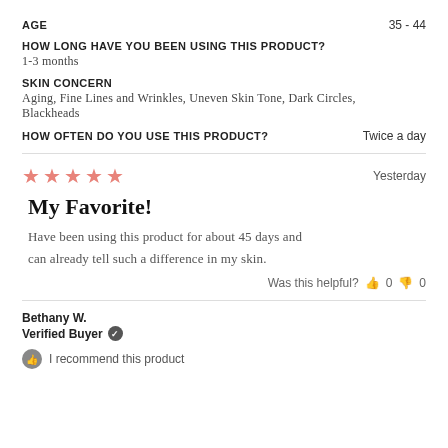AGE   35 - 44
HOW LONG HAVE YOU BEEN USING THIS PRODUCT?
1-3 months
SKIN CONCERN
Aging, Fine Lines and Wrinkles, Uneven Skin Tone, Dark Circles, Blackheads
HOW OFTEN DO YOU USE THIS PRODUCT?   Twice a day
[Figure (other): 5 pink/salmon star rating icons]
Yesterday
My Favorite!
Have been using this product for about 45 days and can already tell such a difference in my skin.
Was this helpful?  👍 0  👎 0
Bethany W.
Verified Buyer ✓
👍 I recommend this product